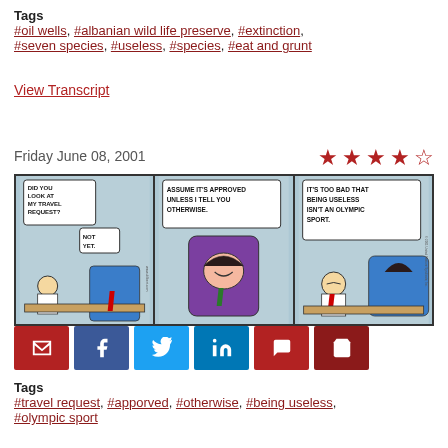Tags
#oil wells, #albanian wild life preserve, #extinction, #seven species, #useless, #species, #eat and grunt
View Transcript
Friday June 08, 2001
[Figure (illustration): Dilbert comic strip with three panels. Panel 1: Dilbert asks 'Did you look at my travel request?' Boss says 'Not yet.' Panel 2: Boss says 'Assume it's approved unless I tell you otherwise.' Panel 3: Dilbert says 'It's too bad that being useless isn't an olympic sport.']
[Figure (infographic): Row of social sharing buttons: email, Facebook, Twitter, LinkedIn, comment, cart]
Tags
#travel request, #apporved, #otherwise, #being useless, #olympic sport